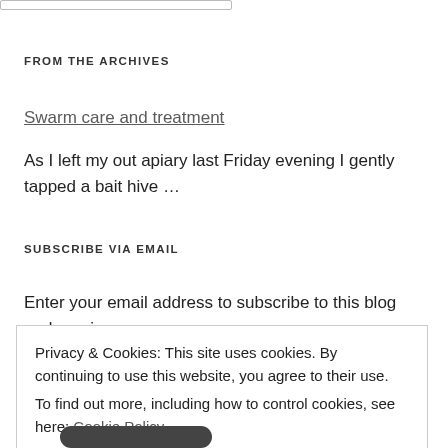FROM THE ARCHIVES
Swarm care and treatment
As I left my out apiary last Friday evening I gently tapped a bait hive …
SUBSCRIBE VIA EMAIL
Enter your email address to subscribe to this blog and receive
Privacy & Cookies: This site uses cookies. By continuing to use this website, you agree to their use.
To find out more, including how to control cookies, see here: Cookie Policy
Close and accept